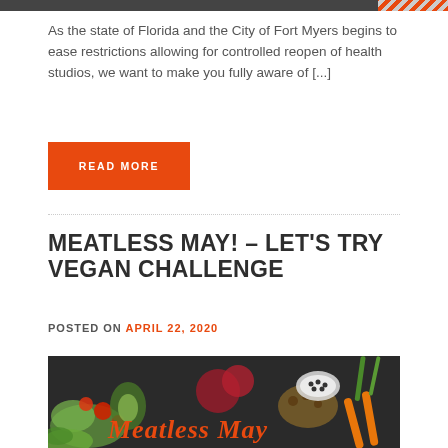[Figure (photo): Top image strip/banner with dark background and orange striped pattern on the right edge]
As the state of Florida and the City of Fort Myers begins to ease restrictions allowing for controlled reopen of health studios, we want to make you fully aware of [...]
READ MORE
MEATLESS MAY! – LET'S TRY VEGAN CHALLENGE
POSTED ON APRIL 22, 2020
[Figure (photo): Photo of various vegetables and foods arranged on a dark surface with 'Meatless May' text overlay in orange italic script]